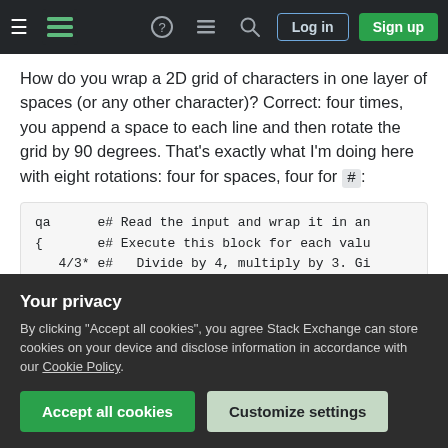Stack Exchange navigation bar with hamburger menu, logo, help, chat, search, Log in, Sign up
How do you wrap a 2D grid of characters in one layer of spaces (or any other character)? Correct: four times, you append a space to each line and then rotate the grid by 90 degrees. That's exactly what I'm doing here with eight rotations: four for spaces, four for #:
qa      e# Read the input and wrap it in an
{       e# Execute this block for each valu
   4/3* e#   Divide by 4, multiply by 3. Gi
        e#   and 3 for the other four.
   ' +  e#   Add the result to a space char
Your privacy
By clicking "Accept all cookies", you agree Stack Exchange can store cookies on your device and disclose information in accordance with our Cookie Policy.
Accept all cookies
Customize settings